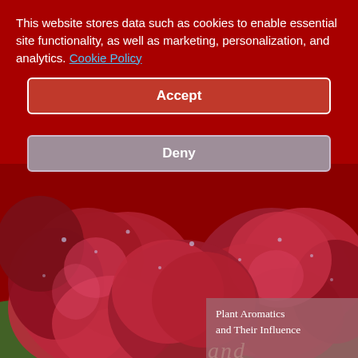This website stores data such as cookies to enable essential site functionality, as well as marketing, personalization, and analytics. Cookie Policy
Accept
Deny
[Figure (photo): Book cover showing red roses with water droplets on a dark red background, with italic 'and' and large gold 'WELLBEING' text overlay]
Plant Aromatics and Their Influence